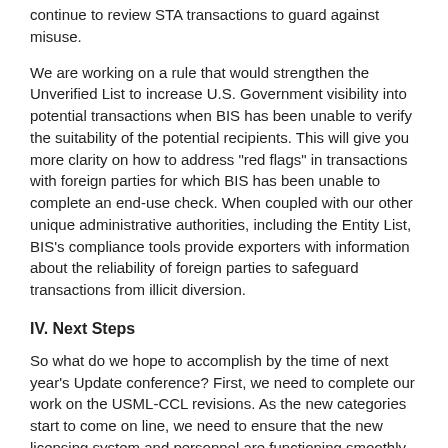continue to review STA transactions to guard against misuse.
We are working on a rule that would strengthen the Unverified List to increase U.S. Government visibility into potential transactions when BIS has been unable to verify the suitability of the potential recipients. This will give you more clarity on how to address "red flags" in transactions with foreign parties for which BIS has been unable to complete an end-use check. When coupled with our other unique administrative authorities, including the Entity List, BIS's compliance tools provide exporters with information about the reliability of foreign parties to safeguard transactions from illicit diversion.
IV. Next Steps
So what do we hope to accomplish by the time of next year's Update conference? First, we need to complete our work on the USML-CCL revisions. As the new categories start to come on line, we need to ensure that the new licensing system and personnel are functioning smoothly.
Our new Munitions Control Division will be handling the license applications, classification requests, and other matters that will become BIS's responsibility. It is staffed and trained, and I have every confidence that it will manage the new system successfully. If not, I'm sure you will let us know. By